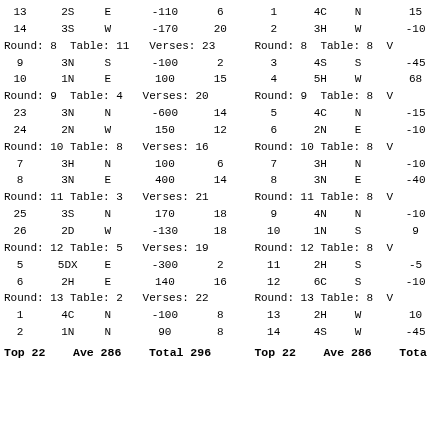| Bd | Contract | Decl | Score | MPs | Bd | Contract | Decl | Score | MPs |
| --- | --- | --- | --- | --- | --- | --- | --- | --- | --- |
| 13 | 2S | E |  | −110 | 6 | 1 | 4C | N |  | 15 |
| 14 | 3S | W |  | −170 | 20 | 2 | 3H | W |  | −10 |
| Round: 8 | Table: 11 | Verses: 23 |  | Round: 8 | Table: 8 | V |
| 9 | 3N | S |  | −100 | 2 | 3 | 4S | S |  | −45 |
| 10 | 1N | E |  | 100 | 15 | 4 | 5H | W |  | 68 |
| Round: 9 | Table: 4 | Verses: 20 |  | Round: 9 | Table: 8 | V |
| 23 | 3N | N |  | −600 | 14 | 5 | 4C | N |  | −15 |
| 24 | 2N | W |  | 150 | 12 | 6 | 2N | E |  | −10 |
| Round: 10 | Table: 8 | Verses: 16 |  | Round: 10 | Table: 8 | V |
| 7 | 3H | N |  | 100 | 6 | 7 | 3H | N |  | −10 |
| 8 | 3N | E |  | 400 | 14 | 8 | 3N | E |  | −40 |
| Round: 11 | Table: 3 | Verses: 21 |  | Round: 11 | Table: 8 | V |
| 25 | 3S | N |  | 170 | 18 | 9 | 4N | N |  | −10 |
| 26 | 2D | W |  | −130 | 18 | 10 | 1N | S |  | 9 |
| Round: 12 | Table: 5 | Verses: 19 |  | Round: 12 | Table: 8 | V |
| 5 | 5DX | E |  | −300 | 2 | 11 | 2H | S |  | −5 |
| 6 | 2H | E |  | 140 | 16 | 12 | 6C | S |  | −10 |
| Round: 13 | Table: 2 | Verses: 22 |  | Round: 13 | Table: 8 | V |
| 1 | 4C | N |  | −100 | 8 | 13 | 2H | W |  | 10 |
| 2 | 1N | N |  | 90 | 8 | 14 | 4S | W |  | −45 |
| Top 22 | Ave 286 | Total 296 |  | Top 22 | Ave 286 | Tota |